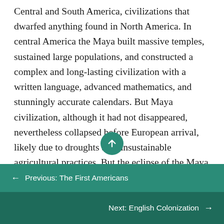Central and South America, civilizations that dwarfed anything found in North America. In central America the Maya built massive temples, sustained large populations, and constructed a complex and long-lasting civilization with a written language, advanced mathematics, and stunningly accurate calendars. But Maya civilization, although it had not disappeared, nevertheless collapsed before European arrival, likely due to droughts and unsustainable agricultural practices. But the eclipse of the Maya only heralded the later rise of the most powerful native civilization ever seen in the Western Hemisphere: the
← Previous: The First Americans
Next: English Colonization →